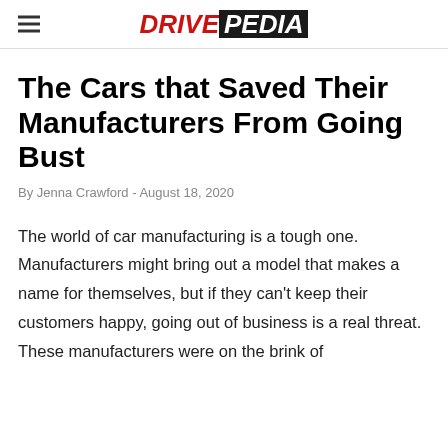DRIVEPEDIA
The Cars that Saved Their Manufacturers From Going Bust
By Jenna Crawford - August 18, 2020
The world of car manufacturing is a tough one. Manufacturers might bring out a model that makes a name for themselves, but if they can't keep their customers happy, going out of business is a real threat. These manufacturers were on the brink of